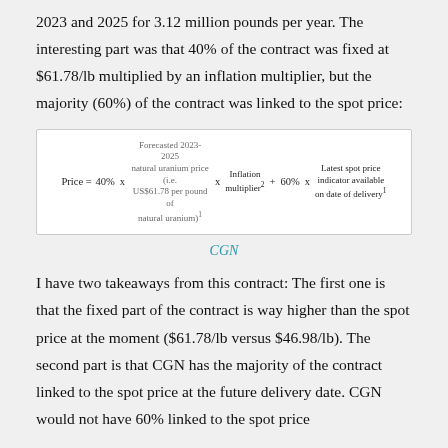2023 and 2025 for 3.12 million pounds per year. The interesting part was that 40% of the contract was fixed at $61.78/lb multiplied by an inflation multiplier, but the majority (60%) of the contract was linked to the spot price:
CGN
I have two takeaways from this contract: The first one is that the fixed part of the contract is way higher than the spot price at the moment ($61.78/lb versus $46.98/lb). The second part is that CGN has the majority of the contract linked to the spot price at the future delivery date. CGN would not have 60% linked to the spot price